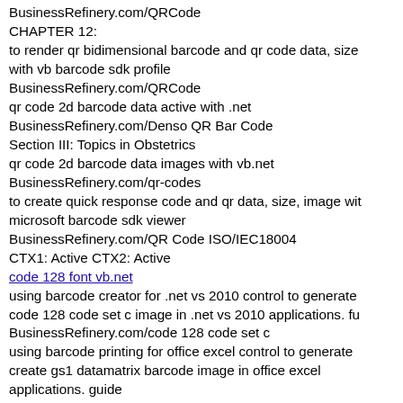BusinessRefinery.com/QRCode
CHAPTER 12:
to render qr bidimensional barcode and qr code data, size with vb barcode sdk profile
BusinessRefinery.com/QRCode
qr code 2d barcode data active with .net
BusinessRefinery.com/Denso QR Bar Code
Section III: Topics in Obstetrics
qr code 2d barcode data images with vb.net
BusinessRefinery.com/qr-codes
to create quick response code and qr data, size, image with microsoft barcode sdk viewer
BusinessRefinery.com/QR Code ISO/IEC18004
CTX1: Active CTX2: Active
code 128 font vb.net
using barcode creator for .net vs 2010 control to generate code 128 code set c image in .net vs 2010 applications. fu
BusinessRefinery.com/code 128 code set c
using barcode printing for office excel control to generate create gs1 datamatrix barcode image in office excel applications. guide
BusinessRefinery.com/Data Matrix
product. Games for young children are, of course, easier, requiring less hand-eye coordination, and often are shorter games for teenagers and adults. They resemble children s